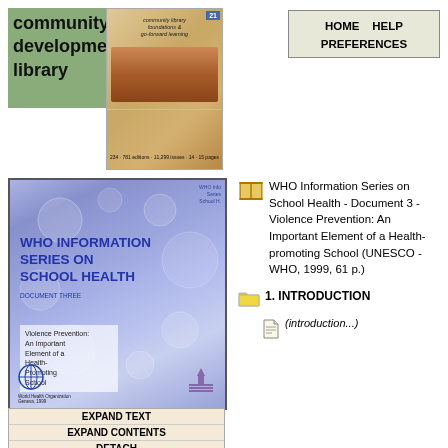[Figure (logo): Community Development Library logo with green text background and book cover image]
HOME   HELP
PREFERENCES
[Figure (photo): WHO Information Series on School Health - Document 3 book cover, blue/purple background with water droplets, title in bold blue uppercase text, subtitle box reading 'Violence Prevention: An Important Element of a Health-Promoting School', WHO and UNESCO logos at bottom]
EXPAND TEXT
EXPAND CONTENTS
DETACH
NO HIGHLIGHTING
WHO Information Series on School Health - Document 3 - Violence Prevention: An Important Element of a Health-promoting School (UNESCO - WHO, 1999, 61 p.)
1. INTRODUCTION
(introduction...)